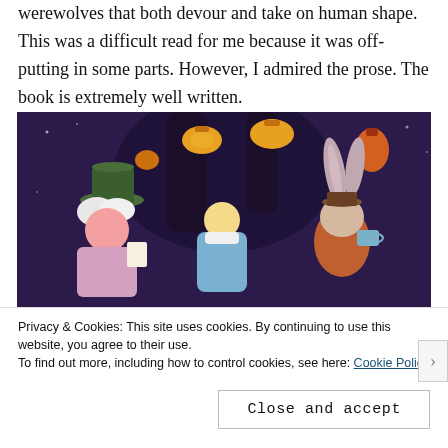werewolves that both devour and take on human shape. This was a difficult read for me because it was off-putting in some parts. However, I admired the prose. The book is extremely well written.
[Figure (illustration): Scene from Alice in Wonderland animation showing the Mad Hatter (left, with green top hat and white hair), Alice (center, blonde in blue dress), and the March Hare (right, with rabbit ears) at a tea party, with glowing lanterns hanging above against a dark purple/black background.]
Privacy & Cookies: This site uses cookies. By continuing to use this website, you agree to their use.
To find out more, including how to control cookies, see here: Cookie Policy
Close and accept